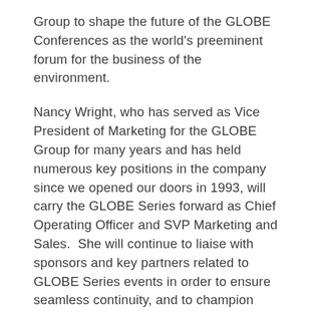Group to shape the future of the GLOBE Conferences as the world's preeminent forum for the business of the environment.
Nancy Wright, who has served as Vice President of Marketing for the GLOBE Group for many years and has held numerous key positions in the company since we opened our doors in 1993, will carry the GLOBE Series forward as Chief Operating Officer and SVP Marketing and Sales.  She will continue to liaise with sponsors and key partners related to GLOBE Series events in order to ensure seamless continuity, and to champion future growth not just of the biennial Vancouver event but of subsequent GLOBE Series Conferences elsewhere.
As for my role, I will be stepping away from the demanding schedule necessary to manage the